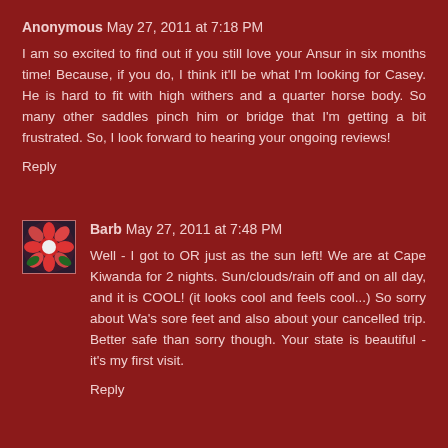Anonymous May 27, 2011 at 7:18 PM
I am so excited to find out if you still love your Ansur in six months time! Because, if you do, I think it'll be what I'm looking for Casey. He is hard to fit with high withers and a quarter horse body. So many other saddles pinch him or bridge that I'm getting a bit frustrated. So, I look forward to hearing your ongoing reviews!
Reply
Barb May 27, 2011 at 7:48 PM
Well - I got to OR just as the sun left! We are at Cape Kiwanda for 2 nights. Sun/clouds/rain off and on all day, and it is COOL! (it looks cool and feels cool...) So sorry about Wa's sore feet and also about your cancelled trip. Better safe than sorry though. Your state is beautiful - it's my first visit.
Reply